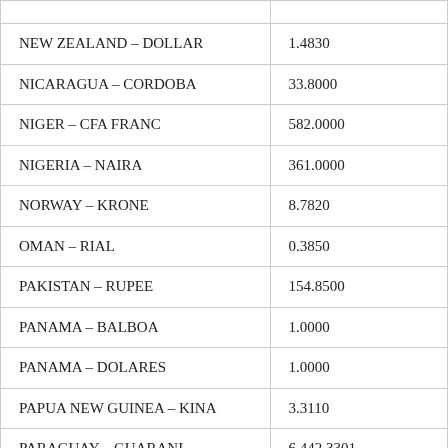| Country – Currency | Rate |
| --- | --- |
| NEW ZEALAND – DOLLAR | 1.4830 |
| NICARAGUA – CORDOBA | 33.8000 |
| NIGER – CFA FRANC | 582.0000 |
| NIGERIA – NAIRA | 361.0000 |
| NORWAY – KRONE | 8.7820 |
| OMAN – RIAL | 0.3850 |
| PAKISTAN – RUPEE | 154.8500 |
| PANAMA – BALBOA | 1.0000 |
| PANAMA – DOLARES | 1.0000 |
| PAPUA NEW GUINEA – KINA | 3.3110 |
| PARAGUAY – GUARANI | 6,442.3301 |